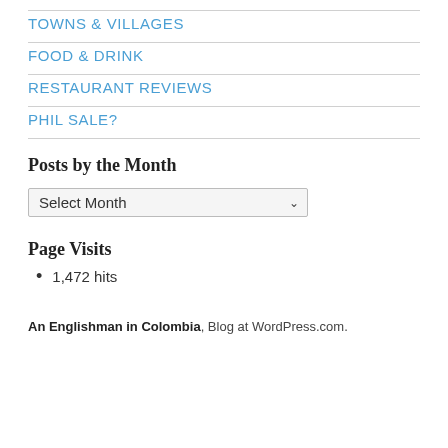TOWNS & VILLAGES
FOOD & DRINK
RESTAURANT REVIEWS
PHIL SALE?
Posts by the Month
Select Month
Page Visits
1,472 hits
An Englishman in Colombia, Blog at WordPress.com.